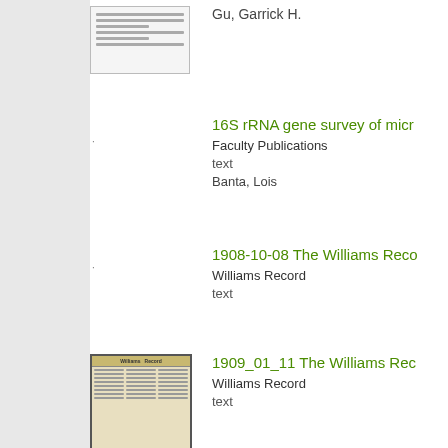[Figure (screenshot): Thumbnail of a document page with text lines]
Gu, Garrick H.
[Figure (other): No thumbnail placeholder]
16S rRNA gene survey of micr
Faculty Publications
text
Banta, Lois
[Figure (other): No thumbnail placeholder]
1908-10-08 The Williams Reco
Williams Record
text
[Figure (photo): Thumbnail of Williams Record newspaper front page]
1909_01_11 The Williams Rec
Williams Record
text